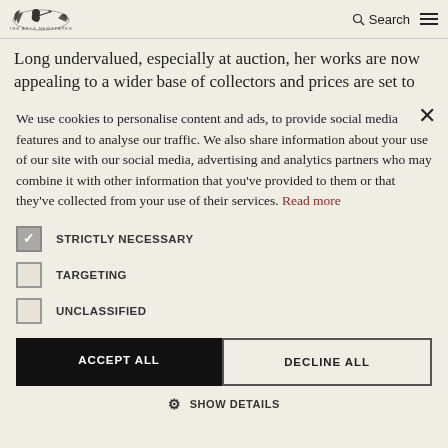[Figure (logo): Publication logo with illustrated figure]
Search
Long undervalued, especially at auction, her works are now appealing to a wider base of collectors and prices are set to rise accordingly
We use cookies to personalise content and ads, to provide social media features and to analyse our traffic. We also share information about your use of our site with our social media, advertising and analytics partners who may combine it with other information that you've provided to them or that they've collected from your use of their services. Read more
STRICTLY NECESSARY
TARGETING
UNCLASSIFIED
ACCEPT ALL
DECLINE ALL
SHOW DETAILS